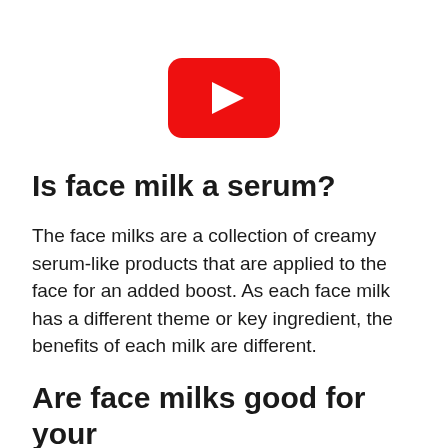[Figure (logo): YouTube logo: red rounded rectangle with white play triangle in the center]
Is face milk a serum?
The face milks are a collection of creamy serum-like products that are applied to the face for an added boost. As each face milk has a different theme or key ingredient, the benefits of each milk are different.
Are face milks good for your